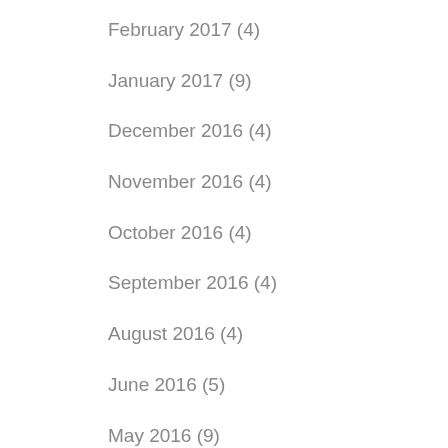February 2017 (4)
January 2017 (9)
December 2016 (4)
November 2016 (4)
October 2016 (4)
September 2016 (4)
August 2016 (4)
June 2016 (5)
May 2016 (9)
April 2016 (2)